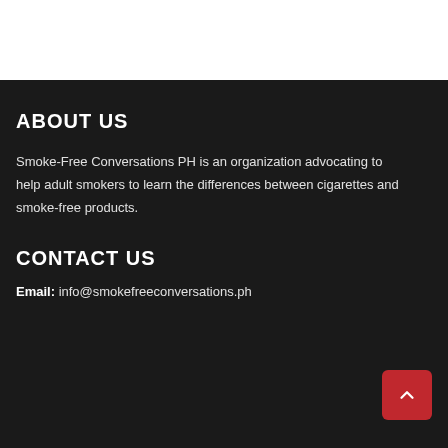ABOUT US
Smoke-Free Conversations PH is an organization advocating to help adult smokers to learn the differences between cigarettes and smoke-free products.
CONTACT US
Email: info@smokefreeconversations.ph